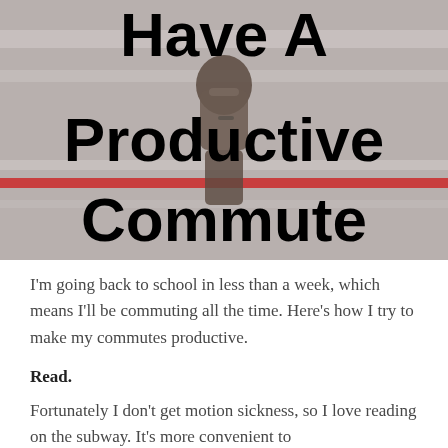[Figure (photo): A person with a backpack standing in front of a blurred commuter train. Large bold text overlaid reads 'Have A Productive Commute'.]
I'm going back to school in less than a week, which means I'll be commuting all the time. Here's how I try to make my commutes productive.
Read.
Fortunately I don't get motion sickness, so I love reading on the subway. It's more convenient to